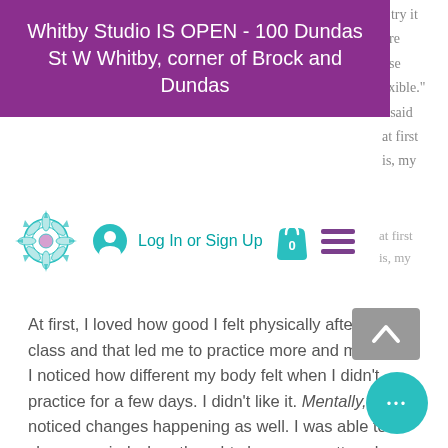Whitby Studio IS OPEN - 100 Dundas St W Whitby, corner of Brock and Dundas
[Figure (logo): Teal/blue mandala flower logo]
[Figure (infographic): Navigation bar with user icon, Log In or Sign Up link, shopping bag with 0, and hamburger menu]
At first, I loved how good I felt physically after a class and that led me to practice more and more. I noticed how different my body felt when I didn't practice for a few days. I didn't like it. Mentally, I noticed changes happening as well. I was able to clear my mind when thoughts became scattered. Also, I felt calm and relaxed which was great because I was going to college at the time. Quickly grew to love yoga.